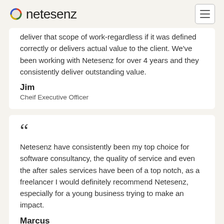netesenz
deliver that scope of work-regardless if it was defined correctly or delivers actual value to the client. We've been working with Netesenz for over 4 years and they consistently deliver outstanding value.
Jim
Cheif Executive Officer
Netesenz have consistently been my top choice for software consultancy, the quality of service and even the after sales services have been of a top notch, as a freelancer I would definitely recommend Netesenz, especially for a young business trying to make an impact.
Marcus